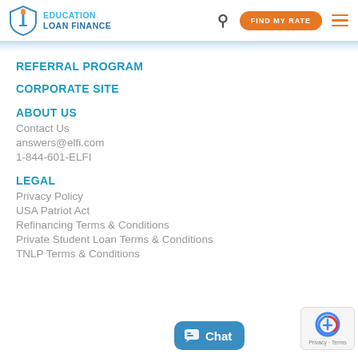EDUCATION LOAN FINANCE | FIND MY RATE
REFERRAL PROGRAM
CORPORATE SITE
ABOUT US
Contact Us
answers@elfi.com
1-844-601-ELFI
LEGAL
Privacy Policy
USA Patriot Act
Refinancing Terms & Conditions
Private Student Loan Terms & Conditions
TNLP Terms & Conditions